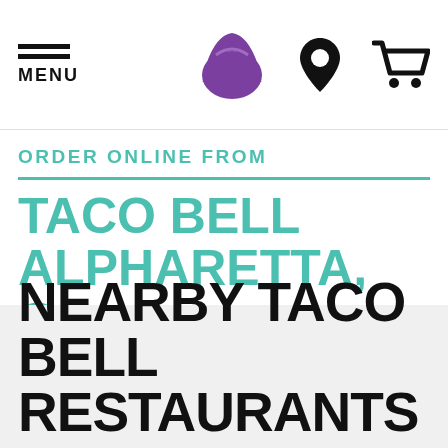MENU
ORDER ONLINE FROM TACO BELL ALPHARETTA, GA
NEARBY TACO BELL RESTAURANTS